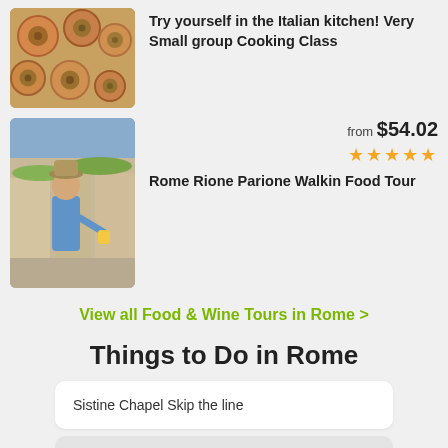[Figure (photo): Close-up photo of Italian pasta/ravioli dishes]
Try yourself in the Italian kitchen! Very Small group Cooking Class
[Figure (photo): Man eating food at an outdoor market in Rome]
from $54.02
★★★★★
Rome Rione Parione Walkin Food Tour
View all Food & Wine Tours in Rome >
Things to Do in Rome
Sistine Chapel Skip the line